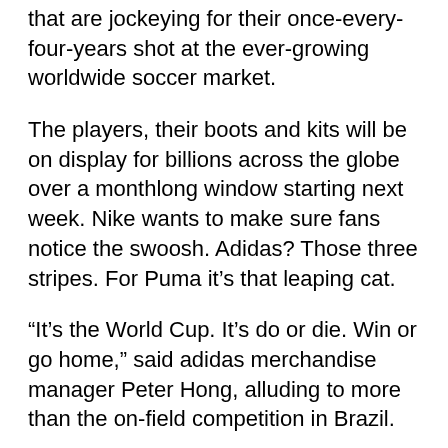that are jockeying for their once-every-four-years shot at the ever-growing worldwide soccer market.
The players, their boots and kits will be on display for billions across the globe over a monthlong window starting next week. Nike wants to make sure fans notice the swoosh. Adidas? Those three stripes. For Puma it's that leaping cat.
“It’s the World Cup. It’s do or die. Win or go home,” said adidas merchandise manager Peter Hong, alluding to more than the on-field competition in Brazil.
The result is going to be an all-out blitz of advertising, social media, personalities and product that goes far beyond simply selling jerseys and cleats.
Nike is betting on its stable of stars and a good showing by Brazil. Adidas has the tradition, and they are the official World